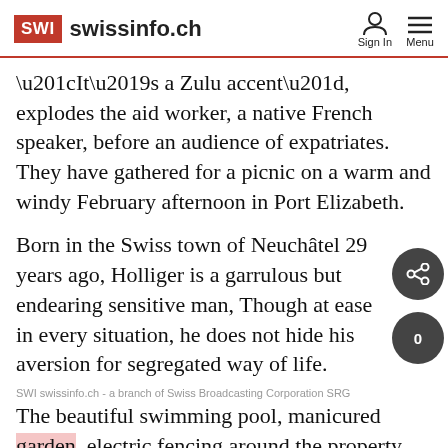SWI swissinfo.ch
“It’s a Zulu accent”, explodes the aid worker, a native French speaker, before an audience of expatriates. They have gathered for a picnic on a warm and windy February afternoon in Port Elizabeth.
Born in the Swiss town of Neuchâtel 29 years ago, Holliger is a garrulous but endearing sensitive man, Though at ease in every situation, he does not hide his aversion for segregated way of life.
SWI swissinfo.ch - a branch of Swiss Broadcasting Corporation SRG
The beautiful swimming pool, manicured garden, electric fencing around the property